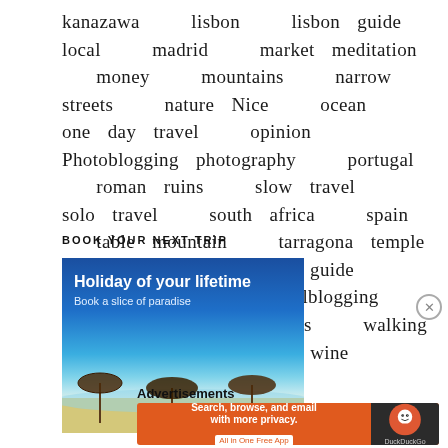kanazawa  lisbon  lisbon guide  local  madrid  market  meditation  money  mountains  narrow streets  nature  Nice  ocean  one day travel  opinion  Photoblogging  photography  portugal  roman ruins  slow travel  solo travel  south africa  spain  table mountain  tarragona  temple  tokyo  Tokyo area guide  Travel  travelblog  travelblogging  travel guide  travel tips  walking  wander  wanderlust  wine  wordpress
BOOK YOUR NEXT TRIP
[Figure (photo): Travel advertisement showing a tropical beach scene with blue sky, ocean, sandy beach and thatched umbrellas. Text reads 'Holiday of your lifetime - Book a slice of paradise']
Advertisements
[Figure (screenshot): DuckDuckGo advertisement with orange background. Text: 'Search, browse, and email with more privacy. All in One Free App' with DuckDuckGo logo on dark right panel.]